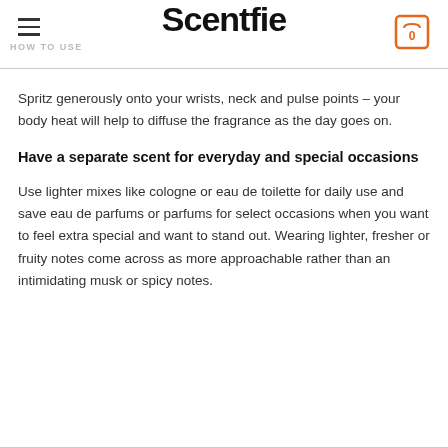Scentfie — HOW TO USE
Spritz generously onto your wrists, neck and pulse points – your body heat will help to diffuse the fragrance as the day goes on.
Have a separate scent for everyday and special occasions
Use lighter mixes like cologne or eau de toilette for daily use and save eau de parfums or parfums for select occasions when you want to feel extra special and want to stand out. Wearing lighter, fresher or fruity notes come across as more approachable rather than an intimidating musk or spicy notes.